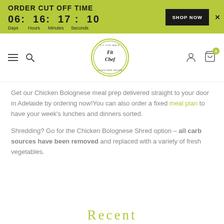ORDER CUT OFF TIME
06: 16: 17 : 10
Days Hours Minutes Seconds
SHOP NOW ×
[Figure (logo): Fit Chef circular logo with text 'Fit Chef' in script font, surrounded by circular border text]
Get our Chicken Bolognese meal prep delivered straight to your door in Adelaide by ordering now!You can also order a fixed meal plan to have your week's lunches and dinners sorted.
Shredding? Go for the Chicken Bolognese Shred option – all carb sources have been removed and replaced with a variety of fresh vegetables.
Recent